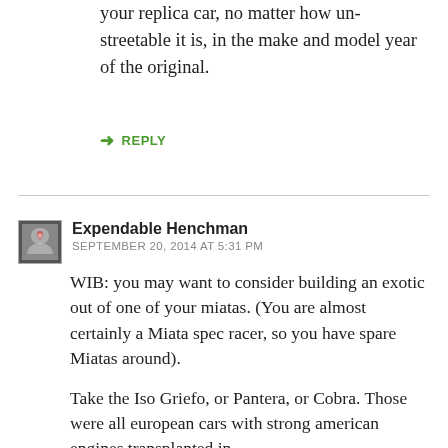your replica car, no matter how un-streetable it is, in the make and model year of the original.
↳ REPLY
Expendable Henchman
SEPTEMBER 20, 2014 AT 5:31 PM
WIB: you may want to consider building an exotic out of one of your miatas. (You are almost certainly a Miata spec racer, so you have spare Miatas around).
Take the Iso Griefo, or Pantera, or Cobra. Those were all european cars with strong american engines transplanted in.
You already know your Miatas inside and out, why not go the Monster Miata route, and make your own exotic? I know there are 5.0 liter kits available, and